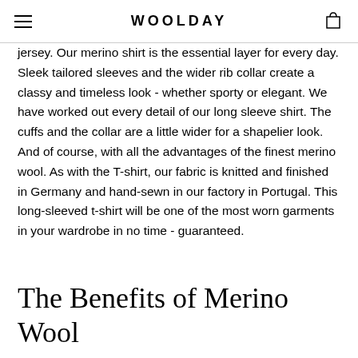WOOLDAY
jersey. Our merino shirt is the essential layer for every day. Sleek tailored sleeves and the wider rib collar create a classy and timeless look - whether sporty or elegant. We have worked out every detail of our long sleeve shirt. The cuffs and the collar are a little wider for a shapelier look. And of course, with all the advantages of the finest merino wool. As with the T-shirt, our fabric is knitted and finished in Germany and hand-sewn in our factory in Portugal. This long-sleeved t-shirt will be one of the most worn garments in your wardrobe in no time - guaranteed.
The Benefits of Merino Wool